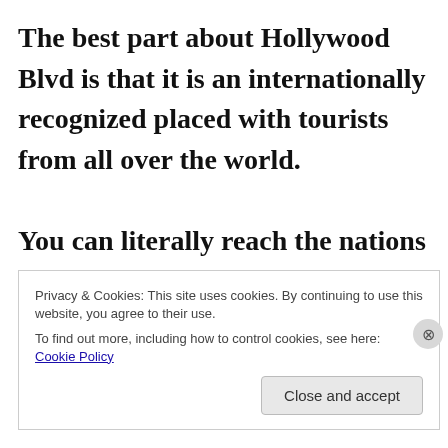The best part about Hollywood Blvd is that it is an internationally recognized placed with tourists from all over the world.

You can literally reach the nations by street preaching there!
Privacy & Cookies: This site uses cookies. By continuing to use this website, you agree to their use.
To find out more, including how to control cookies, see here: Cookie Policy